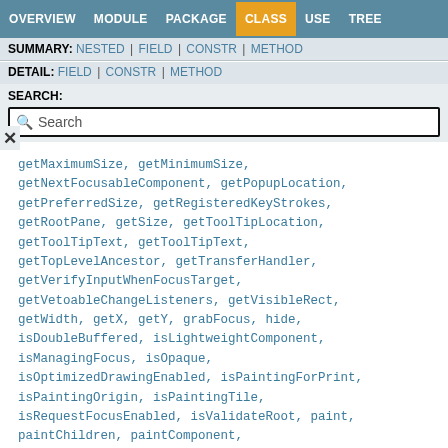OVERVIEW  MODULE  PACKAGE  CLASS  USE  TREE
SUMMARY: NESTED | FIELD | CONSTR | METHOD
DETAIL: FIELD | CONSTR | METHOD
SEARCH:
Search
getMaximumSize, getMinimumSize, getNextFocusableComponent, getPopupLocation, getPreferredSize, getRegisteredKeyStrokes, getRootPane, getSize, getToolTipLocation, getToolTipText, getToolTipText, getTopLevelAncestor, getTransferHandler, getVerifyInputWhenFocusTarget, getVetoableChangeListeners, getVisibleRect, getWidth, getX, getY, grabFocus, hide, isDoubleBuffered, isLightweightComponent, isManagingFocus, isOpaque, isOptimizedDrawingEnabled, isPaintingForPrint, isPaintingOrigin, isPaintingTile, isRequestFocusEnabled, isValidateRoot, paint, paintChildren, paintComponent,